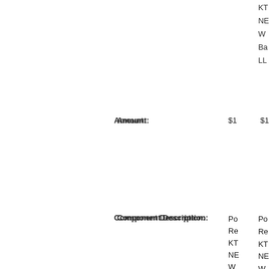KT
NE
W
Ba
LL
Amount: $1
Component Description: Po
Re
KT
NE
W
Ba
LL
Amount: $1
Component Description: Po
Re
KT
NE